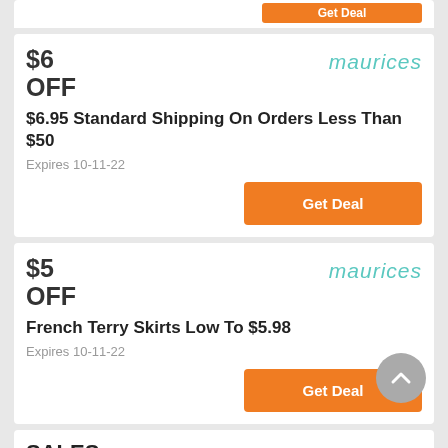[Figure (other): Partial coupon card at top showing orange Get Deal button]
$6
OFF
maurices
$6.95 Standard Shipping On Orders Less Than $50
Expires 10-11-22
Get Deal
$5
OFF
maurices
French Terry Skirts Low To $5.98
Expires 10-11-22
Get Deal
SALES